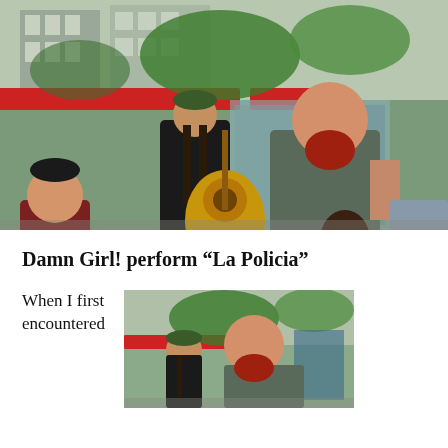[Figure (photo): Street musicians performing outdoors in front of a shop. A man with long hair plays acoustic guitar, a large man with a red beard plays a smaller stringed instrument and sings, another person bends down on the left, and a fourth person is partially visible on the right. Urban setting with buildings and red awnings in background.]
Damn Girl! perform “La Policia”
When I first encountered
[Figure (photo): Second photo of the same street musicians performing outdoors, showing similar scene from a slightly different angle with urban buildings and red awnings in background.]